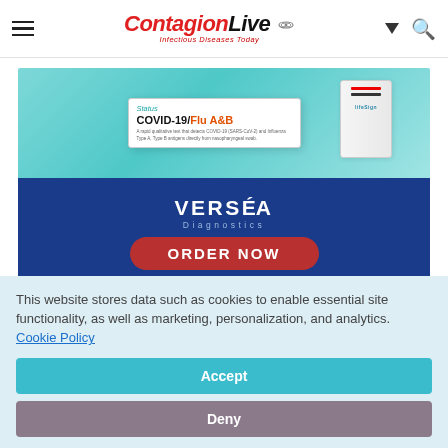ContagionLive — Infectious Diseases Today
[Figure (photo): Advertisement for Verséa Diagnostics showing a Status COVID-19/Flu A&B rapid test kit on a teal background, with the Verséa Diagnostics logo and an ORDER NOW button on a dark blue background.]
This website stores data such as cookies to enable essential site functionality, as well as marketing, personalization, and analytics. Cookie Policy
Accept
Deny